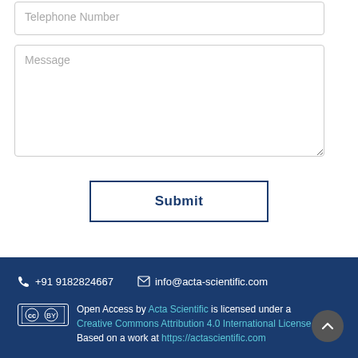[Figure (screenshot): Telephone Number input field (form element)]
[Figure (screenshot): Message textarea input field (form element)]
[Figure (screenshot): Submit button with blue border]
+91 9182824667
info@acta-scientific.com
Open Access by Acta Scientific is licensed under a Creative Commons Attribution 4.0 International License Based on a work at https://actascientific.com